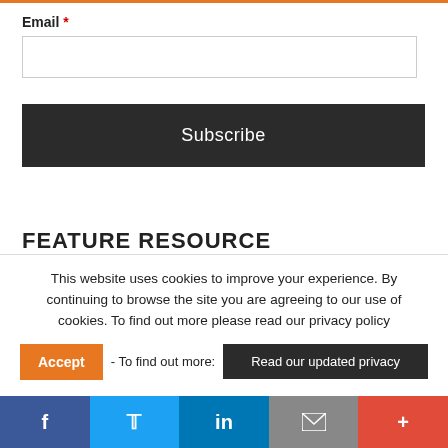Email *
[Figure (other): Email input field (empty text box)]
[Figure (other): Subscribe button (dark background)]
FEATURE RESOURCE
This website uses cookies to improve your experience. By continuing to browse the site you are agreeing to our use of cookies. To find out more please read our privacy policy
Accept - To find out more: Read our updated privacy
[Figure (other): Social sharing bar with Facebook, Twitter, LinkedIn, Email, and Plus icons]